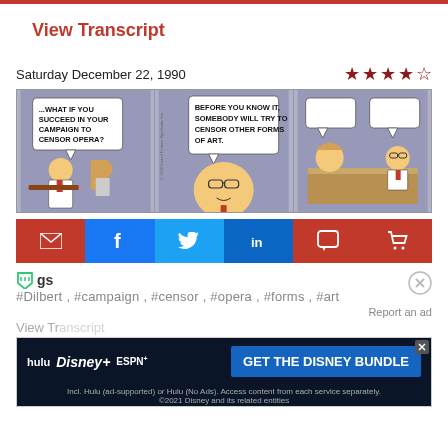View Transcript
Saturday December 22, 1990
[Figure (illustration): Dilbert comic strip from Saturday December 22, 1990. Three panels on blue-gray background. Panel 1: A character says '...WHAT IF YOU SUCCEED IN YOUR CAMPAIGN TO CENSOR OPERA?' Panel 2: Dilbert (shown from neck/tie up with large head) says 'BEFORE YOU KNOW IT, SOMEBODY WILL TRY TO CENSOR OTHER FORMS OF ART.' Panel 3: Two characters face each other across a desk with empty speech bubbles.]
#Dilbert, #campaign, #censor, #opera, #forms, #art
[Figure (infographic): Advertisement for Disney Bundle featuring Hulu, Disney+, and ESPN+ logos with text: GET THE DISNEY BUNDLE. Fine print: Incl. Hulu (ad-supported) or Hulu (No Ads). Access content from each service separately. ©2021 Disney and its related entities]